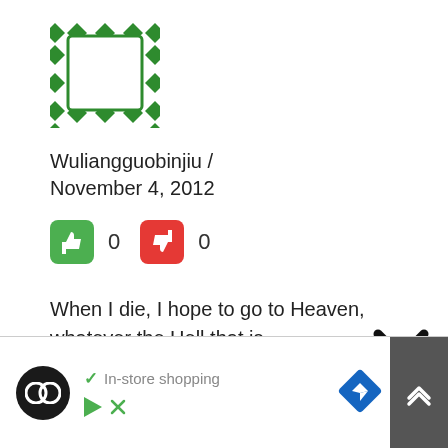[Figure (logo): Green decorative square/diamond pattern avatar icon]
Wuliangguobinjiu /
November 4, 2012
[Figure (infographic): Green thumbs-up button with count 0 and red thumbs-down button with count 0]
When I die, I hope to go to Heaven, whatever the Hell that is.
Father forgive them for they do not know what they do.;)
[Figure (other): Large X close button]
[Figure (screenshot): Ad bar: black circle logo, checkmark In-store shopping text, blue direction sign icon, dark scroll-up button]